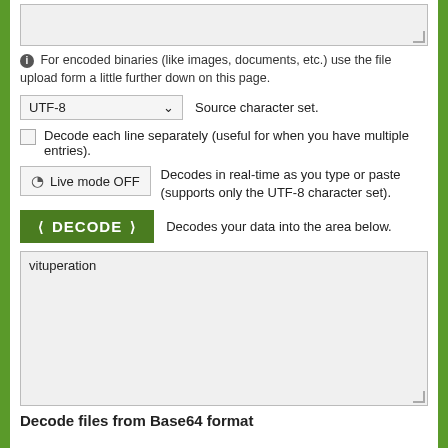[Figure (screenshot): Empty textarea input box with resize handle in bottom-right corner]
For encoded binaries (like images, documents, etc.) use the file upload form a little further down on this page.
UTF-8   Source character set.
Decode each line separately (useful for when you have multiple entries).
Live mode OFF   Decodes in real-time as you type or paste (supports only the UTF-8 character set).
DECODE   Decodes your data into the area below.
vituperation
Decode files from Base64 format